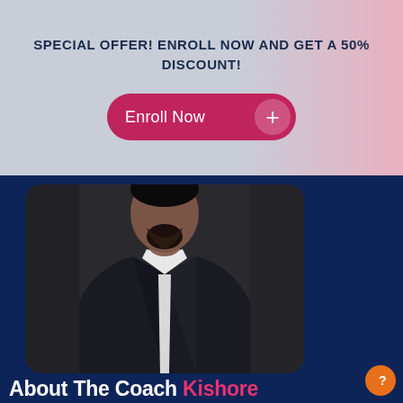SPECIAL OFFER! ENROLL NOW AND GET A 50% DISCOUNT!
[Figure (infographic): Pink enrollment button with 'Enroll Now' text and a + icon on the right side]
[Figure (photo): Professional headshot of a man in a dark suit with white shirt, against a dark background]
About The Coach Kishore